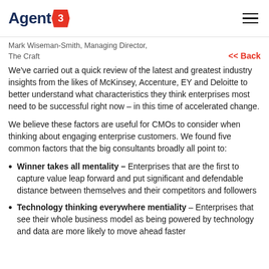Agent3
Mark Wiseman-Smith, Managing Director,
The Craft
<< Back
We've carried out a quick review of the latest and greatest industry insights from the likes of McKinsey, Accenture, EY and Deloitte to better understand what characteristics they think enterprises most need to be successful right now – in this time of accelerated change.
We believe these factors are useful for CMOs to consider when thinking about engaging enterprise customers. We found five common factors that the big consultants broadly all point to:
Winner takes all mentality – Enterprises that are the first to capture value leap forward and put significant and defendable distance between themselves and their competitors and followers
Technology thinking everywhere mentiality – Enterprises that see their whole business model as being powered by technology and data are more likely to move ahead faster